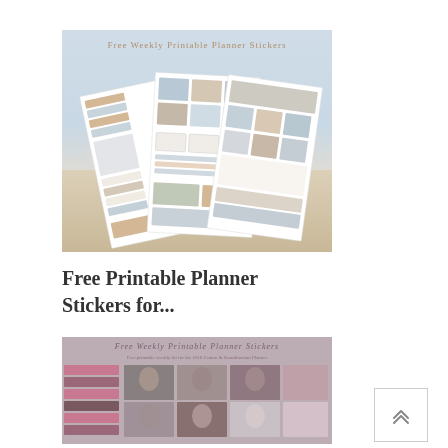[Figure (photo): Photo of free weekly printable planner stickers fanned out on a sandy beach background — three sheets showing beach-themed stickers in blue, tan, and cream tones with the title 'Free Weekly Printable Planner Stickers']
Free Printable Planner Stickers for...
[Figure (photo): Partial photo of free weekly printable planner stickers sheet — dark/moody fantasy theme with pink and dark tones, showing rows of decorative image stickers featuring portraits and florals, with text 'Free Weekly Printable Planner Stickers' at top]